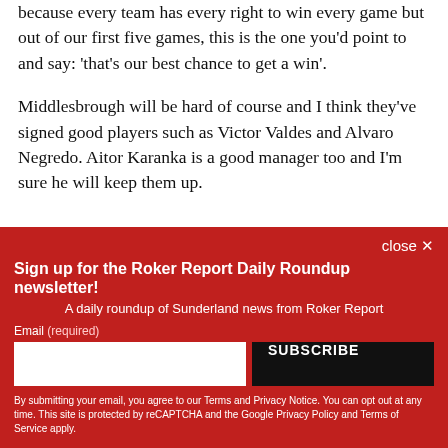because every team has every right to win every game but out of our first five games, this is the one you'd point to and say: 'that's our best chance to get a win'.
Middlesbrough will be hard of course and I think they've signed good players such as Victor Valdes and Alvaro Negredo. Aitor Karanka is a good manager too and I'm sure he will keep them up.
close ×
Sign up for the Roker Report Daily Roundup newsletter!
A daily roundup of Sunderland news from Roker Report
Email (required)
SUBSCRIBE
By submitting your email, you agree to our Terms and Privacy Notice. You can opt out at any time. This site is protected by reCAPTCHA and the Google Privacy Policy and Terms of Service apply.